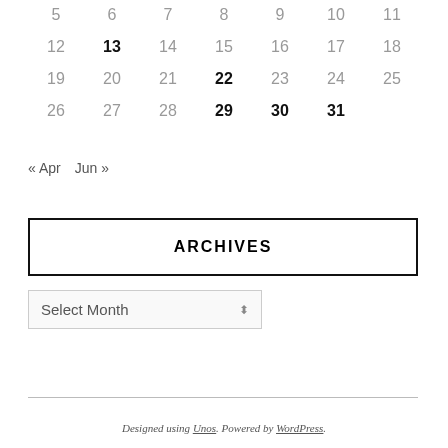| Sun | Mon | Tue | Wed | Thu | Fri | Sat |
| --- | --- | --- | --- | --- | --- | --- |
| 5 | 6 | 7 | 8 | 9 | 10 | 11 |
| 12 | 13 | 14 | 15 | 16 | 17 | 18 |
| 19 | 20 | 21 | 22 | 23 | 24 | 25 |
| 26 | 27 | 28 | 29 | 30 | 31 |  |
« Apr   Jun »
ARCHIVES
Select Month
Designed using Unos. Powered by WordPress.